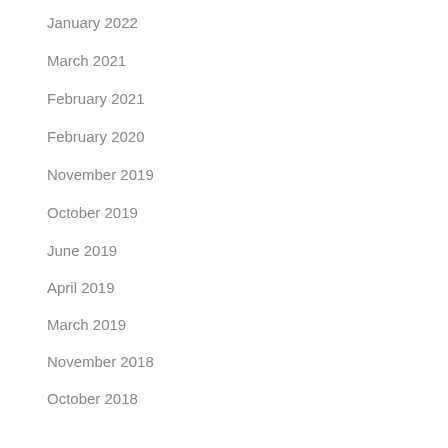January 2022
March 2021
February 2021
February 2020
November 2019
October 2019
June 2019
April 2019
March 2019
November 2018
October 2018
Categories
Inspiration
Kids